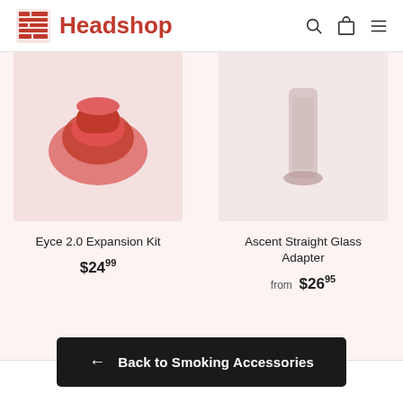Headshop
[Figure (photo): Product image of Eyce 2.0 Expansion Kit (partial, pink/red colored item)]
Eyce 2.0 Expansion Kit
$24.99
[Figure (photo): Product image of Ascent Straight Glass Adapter]
Ascent Straight Glass Adapter
from $26.95
[Figure (photo): Partial product image (cut off, third product starting with Eyce)]
← Back to Smoking Accessories